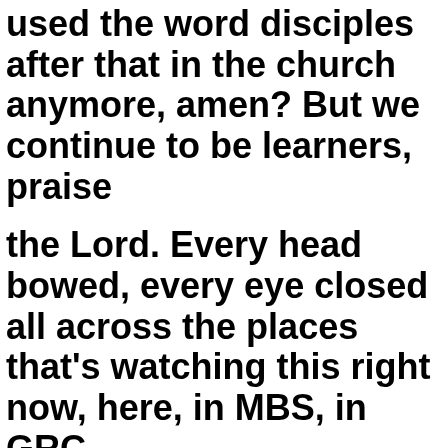used the word disciples after that in the church anymore, amen? But we continue to be learners, praise
the Lord. Every head bowed, every eye closed all across the places that's watching this right now, here, in MBS, in GRC,
also at home. This is your moment to be born again. I'm